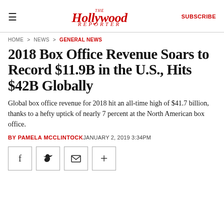The Hollywood Reporter | SUBSCRIBE
HOME > NEWS > GENERAL NEWS
2018 Box Office Revenue Soars to Record $11.9B in the U.S., Hits $42B Globally
Global box office revenue for 2018 hit an all-time high of $41.7 billion, thanks to a hefty uptick of nearly 7 percent at the North American box office.
BY PAMELA MCCLINTOCK JANUARY 2, 2019 3:34PM
[Figure (other): Social sharing buttons: Facebook, Twitter, Email, More (+)]